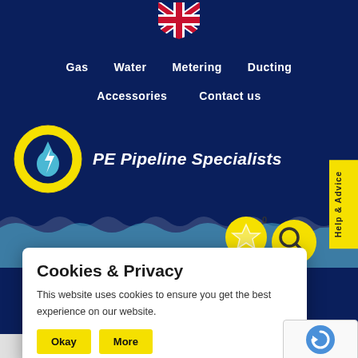[Figure (logo): UK Union Jack flag icon at top center]
Gas   Water   Metering   Ducting
Accessories   Contact us
[Figure (logo): PE Pipeline Specialists logo — yellow circle with blue water drop and lightning bolt, italic white bold text 'PE Pipeline Specialists']
Help & Advice
[Figure (screenshot): Wave decorative border with star icon and search icon circles]
Cookies & Privacy
This website uses cookies to ensure you get the best experience on our website.
Okay   More
ipeline Specialists
[Figure (logo): Google reCAPTCHA badge with Privacy and Terms links]